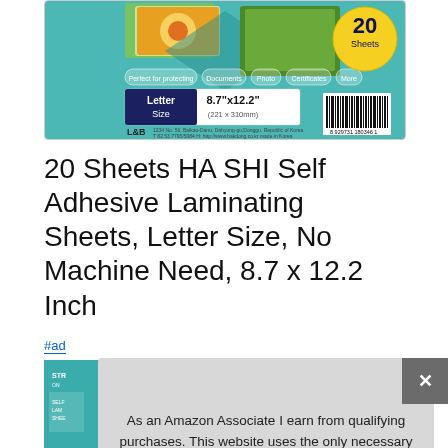[Figure (photo): Product packaging image for HA SHI Self Adhesive Laminating Sheets, Letter Size, 20 Sheets, with teal background showing photos of flowers, documents, and other items. Shows 'Letter Size 8.7x12.2 inches (221x310mm)' label, L&B branding, barcode, and '20 Sheets' badge.]
20 Sheets HA SHI Self Adhesive Laminating Sheets, Letter Size, No Machine Need, 8.7 x 12.2 Inch
#ad
[Figure (photo): Partial thumbnail of another laminating sheets product package with teal/green color.]
As an Amazon Associate I earn from qualifying purchases. This website uses the only necessary cookies to ensure you get the best experience on our website. More information